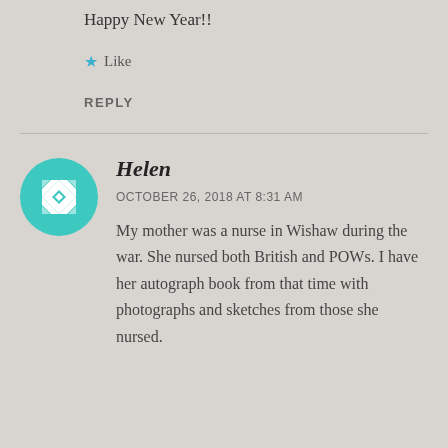Happy New Year!!
★ Like
REPLY
[Figure (illustration): Round avatar with teal/green geometric quilt pattern design]
Helen
OCTOBER 26, 2018 AT 8:31 AM
My mother was a nurse in Wishaw during the war. She nursed both British and POWs. I have her autograph book from that time with photographs and sketches from those she nursed.